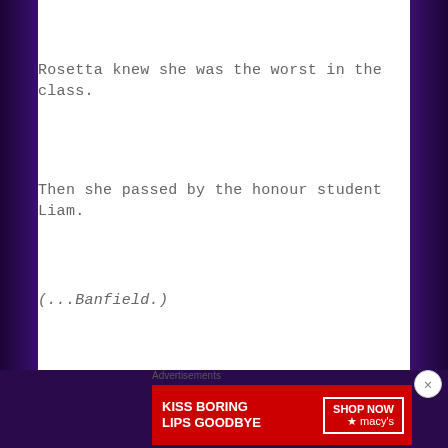Rosetta knew she was the worst in the class.
Then she passed by the honour student Liam.
(...Banfield.)
Advertisements
[Figure (other): Red advertisement banner for Macy's lipstick with text 'KISS BORING LIPS GOODBYE' and 'SHOP NOW' button with Macy's star logo]